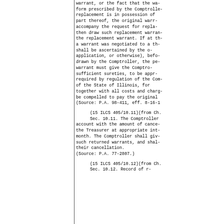warrant, or the fact that the wa- form prescribed by the Comptrolle- replacement is in possession of part thereof, the original warr- accompany the request for repla- then draw such replacement warran- the replacement warrant. If at th- a warrant was negotiated to a th- shall be ascertained by the o- application, or otherwise), befo- drawn by the Comptroller, the pe- warrant must give the Comptro- sufficient sureties, to be appr- required by regulation of the Com- of the State of Illinois, for together with all costs and charg- be compelled to pay the original (Source: P.A. 98-411, eff. 8-16-1
(15 ILCS 405/10.11)(from Ch. Sec. 10.11. The Comptroller account with the amount of cance- the Treasurer at appropriate int- month. The Comptroller shall giv- such returned warrants, and shal- their cancellation. (Source: P.A. 77-2807.)
(15 ILCS 405/10.12)(from Ch. Sec. 10.12. Record of r-